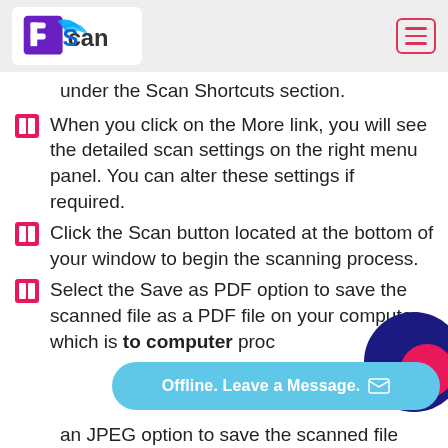[Figure (logo): PS Can logo with purple square icon and blue/pink 'Scan' text on white background]
under the Scan Shortcuts section.
When you click on the More link, you will see the detailed scan settings on the right menu panel. You can alter these settings if required.
Click the Scan button located at the bottom of your window to begin the scanning process.
Select the Save as PDF option to save the scanned file as a PDF file on your computer, which is to computer proc
an JPEG option to save the scanned file